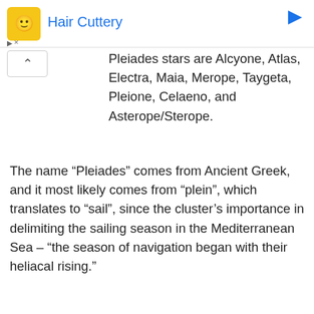Hair Cuttery
Pleiades stars are Alcyone, Atlas, Electra, Maia, Merope, Taygeta, Pleione, Celaeno, and Asterope/Sterope.
The name “Pleiades” comes from Ancient Greek, and it most likely comes from “plein”, which translates to “sail”, since the cluster’s importance in delimiting the sailing season in the Mediterranean Sea – “the season of navigation began with their heliacal rising.”
In Greek mythology, the name “Pleiades” was used for the seven divine sisters, daughters of the Oceanid nymph Pleione,